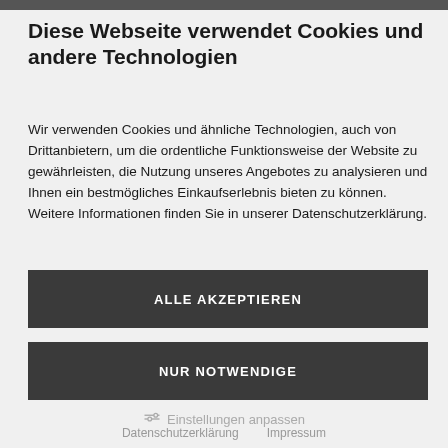Diese Webseite verwendet Cookies und andere Technologien
Wir verwenden Cookies und ähnliche Technologien, auch von Drittanbietern, um die ordentliche Funktionsweise der Website zu gewährleisten, die Nutzung unseres Angebotes zu analysieren und Ihnen ein bestmögliches Einkaufserlebnis bieten zu können. Weitere Informationen finden Sie in unserer Datenschutzerklärung.
ALLE AKZEPTIEREN
NUR NOTWENDIGE
Einstellungen anpassen
Datenschutzerklärung   Impressum